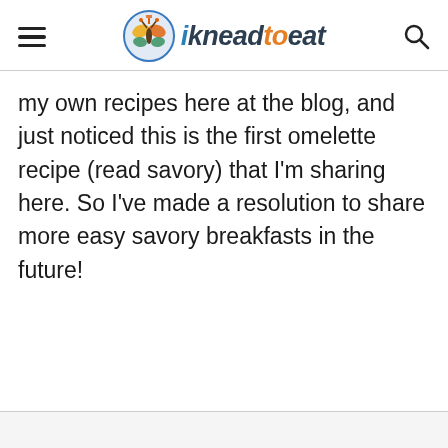ikneadtoeat
my own recipes here at the blog, and just noticed this is the first omelette recipe (read savory) that I'm sharing here. So I've made a resolution to share more easy savory breakfasts in the future!